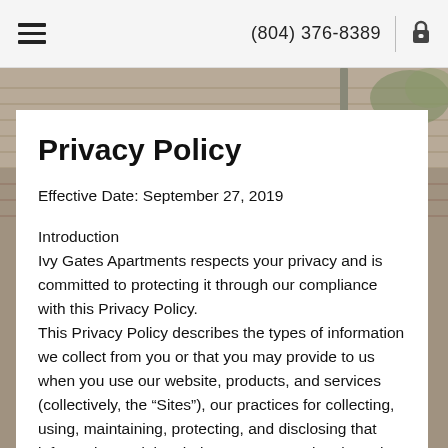(804) 376-8389
[Figure (photo): Exterior photo of apartment building facade with siding and architectural details, used as background image]
Privacy Policy
Effective Date: September 27, 2019
Introduction
Ivy Gates Apartments respects your privacy and is committed to protecting it through our compliance with this Privacy Policy.
This Privacy Policy describes the types of information we collect from you or that you may provide to us when you use our website, products, and services (collectively, the “Sites”), our practices for collecting, using, maintaining, protecting, and disclosing that information and the choices you can make about the way in which your information